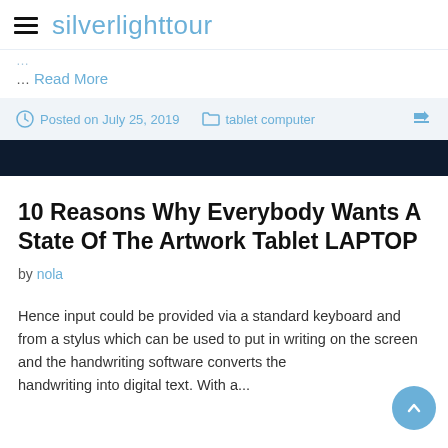silverlighttour
… Read More
Posted on July 25, 2019   tablet computer
10 Reasons Why Everybody Wants A State Of The Artwork Tablet LAPTOP
by nola
Hence input could be provided via a standard keyboard and from a stylus which can be used to put in writing on the screen and the handwriting software converts the handwriting into digital text. With a...